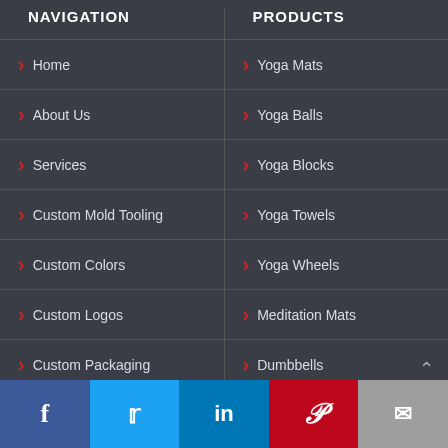NAVIGATION
PRODUCTS
> Home
> Yoga Mats
> About Us
> Yoga Balls
> Services
> Yoga Blocks
> Custom Mold Tooling
> Yoga Towels
> Custom Colors
> Yoga Wheels
> Custom Logos
> Meditation Mats
> Custom Packaging
> Dumbbells
Facebook Twitter LinkedIn Pinterest Email